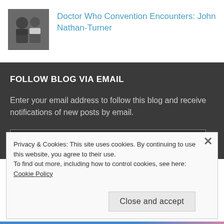[Figure (photo): Thumbnail photo of two people at a Doctor Who convention]
Doctor Who Convention Encounters: John Nathan-Turner
FOLLOW BLOG VIA EMAIL
Enter your email address to follow this blog and receive notifications of new posts by email.
Email Address
Privacy & Cookies: This site uses cookies. By continuing to use this website, you agree to their use.
To find out more, including how to control cookies, see here: Cookie Policy
Close and accept